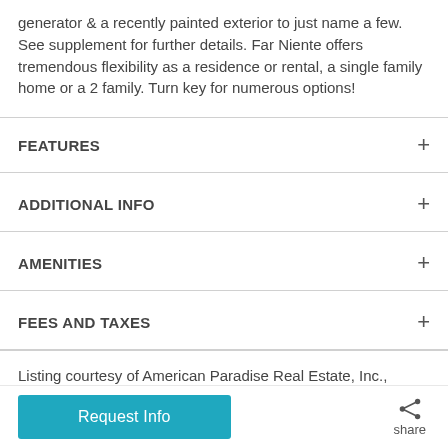generator & a recently painted exterior to just name a few. See supplement for further details. Far Niente offers tremendous flexibility as a residence or rental, a single family home or a 2 family. Turn key for numerous options!
FEATURES
ADDITIONAL INFO
AMENITIES
FEES AND TAXES
Listing courtesy of American Paradise Real Estate, Inc., (340) 693-8352